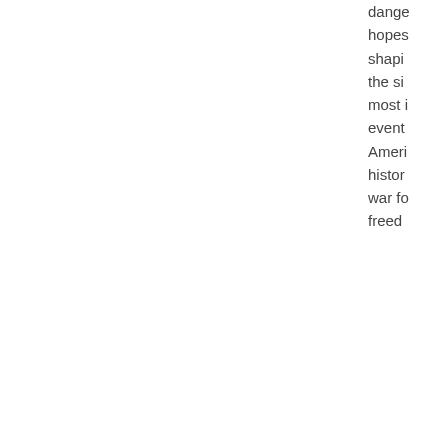danger hopes shaping the si most i events Ameri history war fo freedo Told w history accura incred attent period Shade Patrio recrea Ameri young descri vivid i